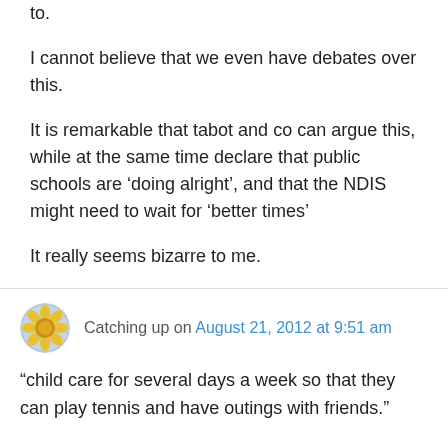to.
I cannot believe that we even have debates over this.
It is remarkable that tabot and co can argue this, while at the same time declare that public schools are ‘doing alright’, and that the NDIS might need to wait for ‘better times’
It really seems bizarre to me.
Catching up on August 21, 2012 at 9:51 am
“child care for several days a week so that they can play tennis and have outings with friends.”